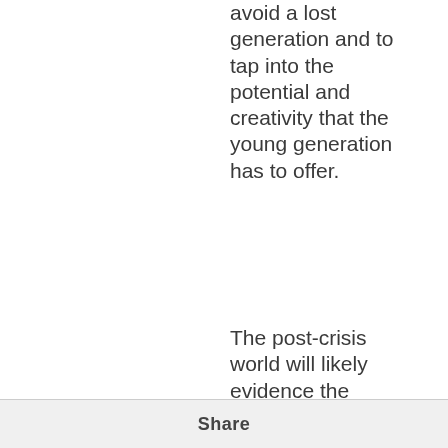avoid a lost generation and to tap into the potential and creativity that the young generation has to offer.
The post-crisis world will likely evidence the need for new
Share